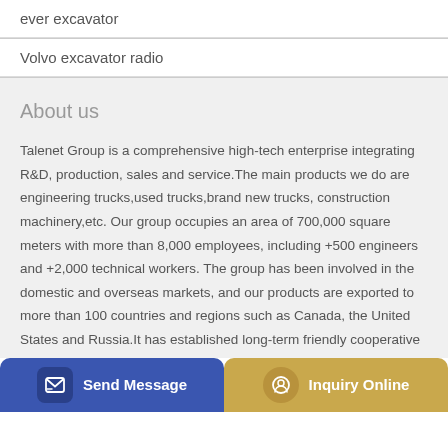ever excavator
Volvo excavator radio
About us
Talenet Group is a comprehensive high-tech enterprise integrating R&D, production, sales and service.The main products we do are engineering trucks,used trucks,brand new trucks, construction machinery,etc. Our group occupies an area of 700,000 square meters with more than 8,000 employees, including +500 engineers and +2,000 technical workers. The group has been involved in the domestic and overseas markets, and our products are exported to more than 100 countries and regions such as Canada, the United States and Russia.It has established long-term friendly cooperative
Send Message | Inquiry Online